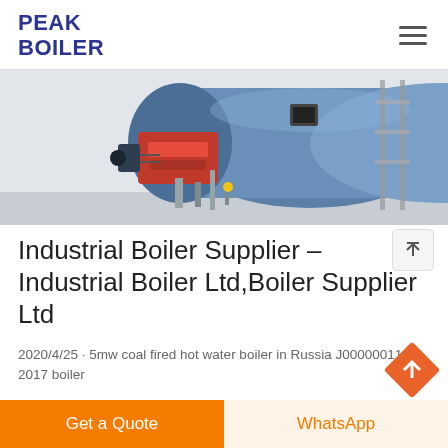PEAK BOILER
[Figure (photo): Industrial boiler equipment in a facility — large cylindrical blue boiler with red burner unit and scaffolding visible in the background]
Industrial Boiler Supplier – Industrial Boiler Ltd,Boiler Supplier Ltd
2020/4/25 · 5mw coal fired hot water boiler in Russia J00000011 6 2017 boiler
Get a Quote   WhatsApp